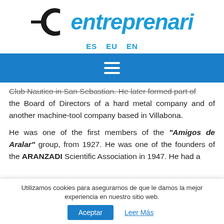[Figure (logo): Entreprenari logo — circular arrow icon in black with a horizontal line, and 'entreprenari' in blue italic script]
ES   EU   EN
[Figure (other): Blue navigation/menu bar with white hamburger icon (three horizontal lines)]
Club Nautico in San Sebastian. He later formed part of the Board of Directors of a hard metal company and of another machine-tool company based in Villabona.
He was one of the first members of the "Amigos de Aralar" group, from 1927. He was one of the founders of the ARANZADI Scientific Association in 1947. He had a
Utilizamos cookies para asegurarnos de que le damos la mejor experiencia en nuestro sitio web.
Aceptar   Leer Más